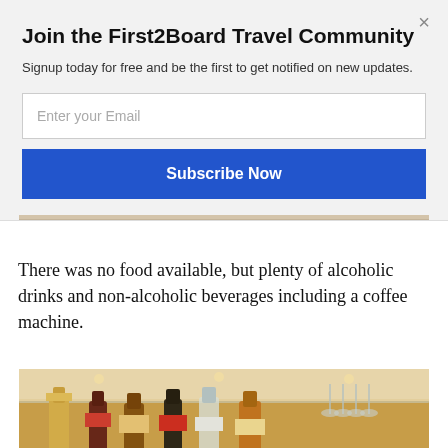Join the First2Board Travel Community
Signup today for free and be the first to get notified on new updates.
Enter your Email
Subscribe Now
[Figure (photo): Top portion of a photo visible behind modal — marble or stone surface]
There was no food available, but plenty of alcoholic drinks and non-alcoholic beverages including a coffee machine.
[Figure (photo): Photo of a bar shelf with multiple bottles of wine, spirits, and glassware on glass shelves]